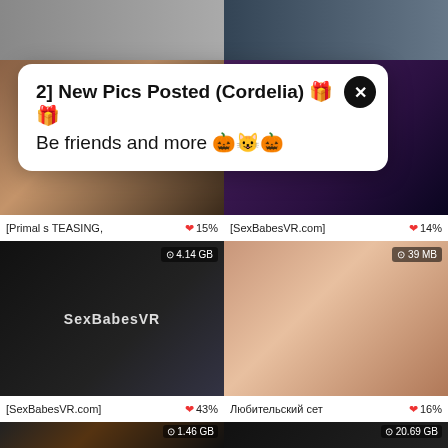[Figure (screenshot): Adult content website grid layout with blurred thumbnails and a notification popup overlay]
2] New Pics Posted (Cordelia) 🎁🎁
Be friends and more 🎃😺🎃
[Primal s TEASING,  ❤ 15%
[SexBabesVR.com]  ❤ 14%
[SexBabesVR.com]  ⊙ 4.14 GB  ❤ 43%
Любительский сет  ⊙ 39 MB  ❤ 16%
⊙ 1.46 GB
⊙ 20.69 GB